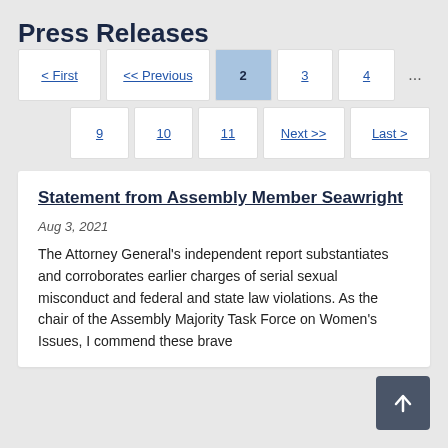Press Releases
< First  << Previous  2  3  4  ...  9  10  11  Next >>  Last >
Statement from Assembly Member Seawright
Aug 3, 2021
The Attorney General's independent report substantiates and corroborates earlier charges of serial sexual misconduct and federal and state law violations. As the chair of the Assembly Majority Task Force on Women's Issues, I commend these brave